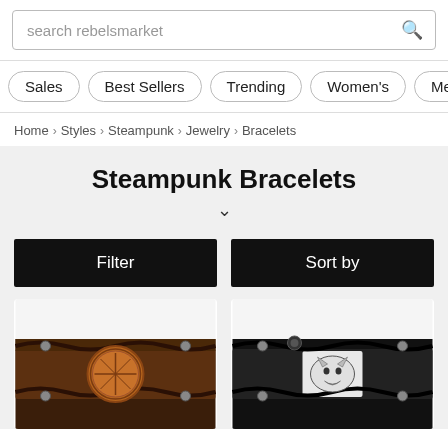search rebelsmarket
Sales | Best Sellers | Trending | Women's | Men's
Home > Styles > Steampunk > Jewelry > Bracelets
Steampunk Bracelets
Filter
Sort by
[Figure (photo): Dark brown leather bracelet with braided edges and a copper Viking compass (Vegvisir) medallion centerpiece, with metal stud rivets.]
[Figure (photo): Black leather wide cuff bracelet with braided edges and a silver wolf head medallion centerpiece, with metal stud rivets.]